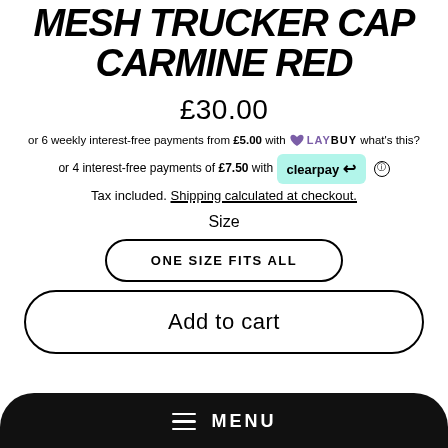MESH TRUCKER CAP CARMINE RED
£30.00
or 6 weekly interest-free payments from £5.00 with LAYBUY what's this?
or 4 interest-free payments of £7.50 with clearpay
Tax included. Shipping calculated at checkout.
Size
ONE SIZE FITS ALL
Add to cart
MENU